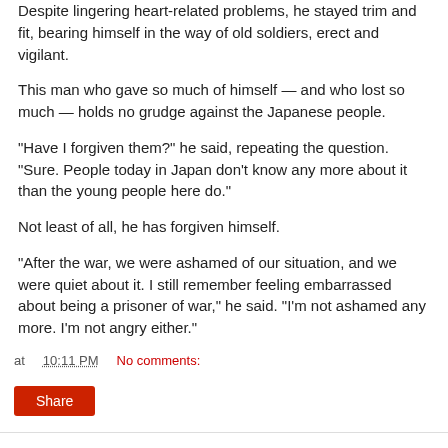Despite lingering heart-related problems, he stayed trim and fit, bearing himself in the way of old soldiers, erect and vigilant.
This man who gave so much of himself — and who lost so much — holds no grudge against the Japanese people.
"Have I forgiven them?" he said, repeating the question. "Sure. People today in Japan don't know any more about it than the young people here do."
Not least of all, he has forgiven himself.
"After the war, we were ashamed of our situation, and we were quiet about it. I still remember feeling embarrassed about being a prisoner of war," he said. "I'm not ashamed any more. I'm not angry either."
at 10:11 PM   No comments:   Share